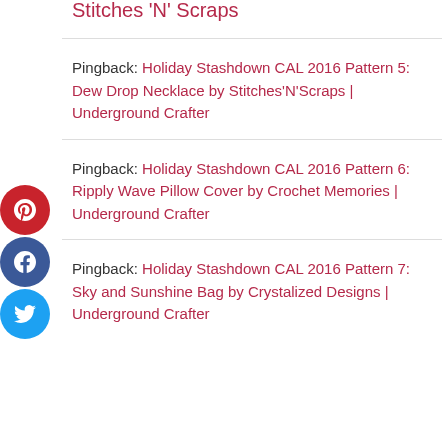Pingback: Free Pattern – Dew Drop Necklace  Stitches 'N' Scraps
Pingback: Holiday Stashdown CAL 2016 Pattern 5: Dew Drop Necklace by Stitches'N'Scraps | Underground Crafter
Pingback: Holiday Stashdown CAL 2016 Pattern 6: Ripply Wave Pillow Cover by Crochet Memories | Underground Crafter
Pingback: Holiday Stashdown CAL 2016 Pattern 7: Sky and Sunshine Bag by Crystalized Designs | Underground Crafter